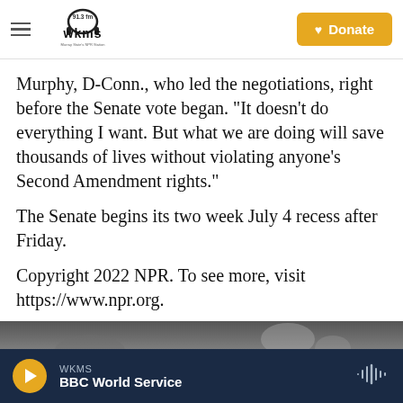WKMS 91.3 fm — Murray State's NPR Station | Donate
Murphy, D-Conn., who led the negotiations, right before the Senate vote began. "It doesn't do everything I want. But what we are doing will save thousands of lives without violating anyone's Second Amendment rights."
The Senate begins its two week July 4 recess after Friday.
Copyright 2022 NPR. To see more, visit https://www.npr.org.
[Figure (photo): A dark partial photo strip showing people in a room, dimly lit background.]
WKMS — BBC World Service